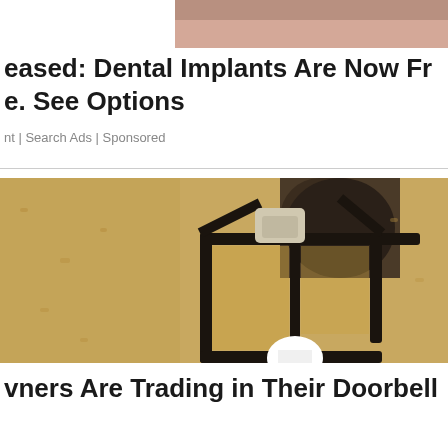[Figure (photo): Cropped top portion of a person's face/skin (forehead area), partially visible at the very top of the page]
eased: Dental Implants Are Now Fr e. See Options
nt | Search Ads | Sponsored
[Figure (photo): A black wrought-iron outdoor wall lantern/light fixture mounted on a textured stucco wall, with a white light bulb visible at the bottom]
vners Are Trading in Their Doorbell